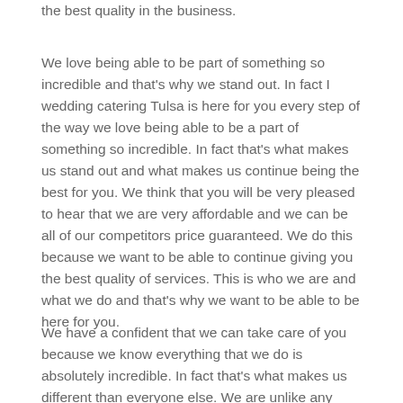the best quality in the business.
We love being able to be part of something so incredible and that's why we stand out. In fact I wedding catering Tulsa is here for you every step of the way we love being able to be a part of something so incredible. In fact that's what makes us stand out and what makes us continue being the best for you. We think that you will be very pleased to hear that we are very affordable and we can be all of our competitors price guaranteed. We do this because we want to be able to continue giving you the best quality of services. This is who we are and what we do and that's why we want to be able to be here for you.
We have a confident that we can take care of you because we know everything that we do is absolutely incredible. In fact that's what makes us different than everyone else. We are unlike any other competitor because we believe in getting things done and getting